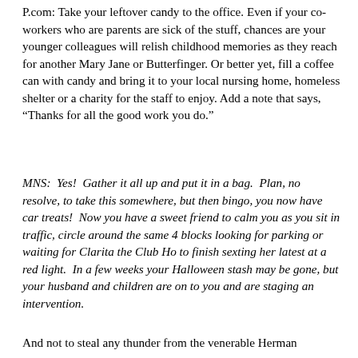P.com: Take your leftover candy to the office. Even if your co-workers who are parents are sick of the stuff, chances are your younger colleagues will relish childhood memories as they reach for another Mary Jane or Butterfinger. Or better yet, fill a coffee can with candy and bring it to your local nursing home, homeless shelter or a charity for the staff to enjoy. Add a note that says, “Thanks for all the good work you do.”
MNS:  Yes!  Gather it all up and put it in a bag.  Plan, no resolve, to take this somewhere, but then bingo, you now have car treats!  Now you have a sweet friend to calm you as you sit in traffic, circle around the same 4 blocks looking for parking or waiting for Clarita the Club Ho to finish sexting her latest at a red light.  In a few weeks your Halloween stash may be gone, but your husband and children are on to you and are staging an intervention.
And not to steal any thunder from the venerable Herman